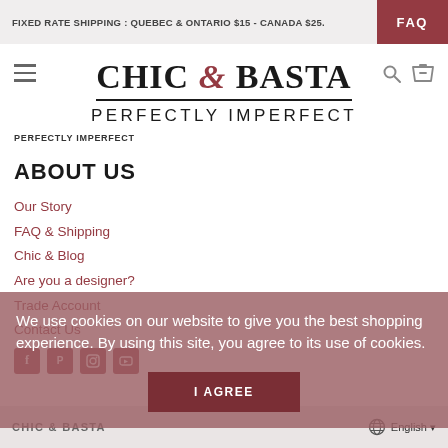FIXED RATE SHIPPING : QUEBEC & ONTARIO $15 - CANADA $25.   FAQ
[Figure (logo): Chic & Basta logo with ampersand in dark red italic, bold serif font, underlined, with tagline PERFECTLY IMPERFECT]
PERFECTLY IMPERFECT
ABOUT US
Our Story
FAQ & Shipping
Chic & Blog
Are you a designer?
Trade Account
Contact Us
We use cookies on our website to give you the best shopping experience. By using this site, you agree to its use of cookies.
I AGREE
CHIC & BASTA   English